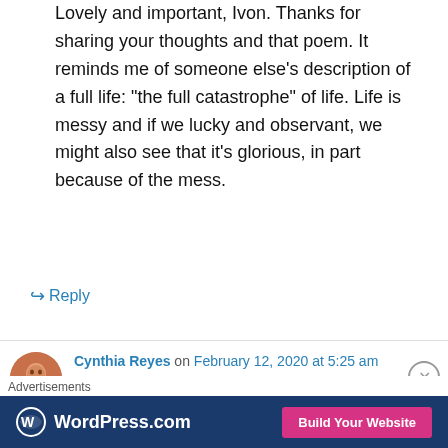Lovely and important, Ivon. Thanks for sharing your thoughts and that poem. It reminds me of someone else's description of a full life: “the full catastrophe” of life. Life is messy and if we lucky and observant, we might also see that it’s glorious, in part because of the mess.
↳ Reply
Cynthia Reyes on February 12, 2020 at 5:25 am
Lovely and important, Ivon. Thanks for sharing your thoughts and that poem. It reminds me of someone else’s description of a full life: “the full catastrophe” of life. Life is messy and if we lucky and observant, we might also see that it’s
Advertisements WordPress.com Build Your Website